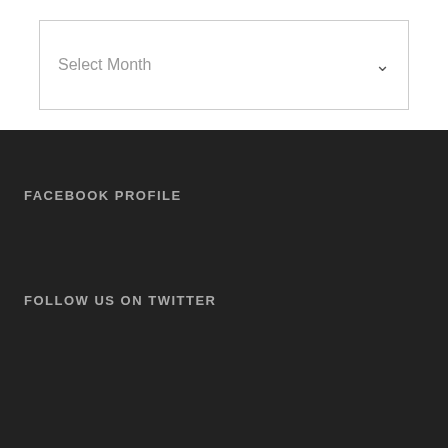[Figure (screenshot): A dropdown/select UI element with placeholder text 'Select Month' and a downward chevron arrow on the right, inside a bordered box on a white background.]
FACEBOOK PROFILE
FOLLOW US ON TWITTER